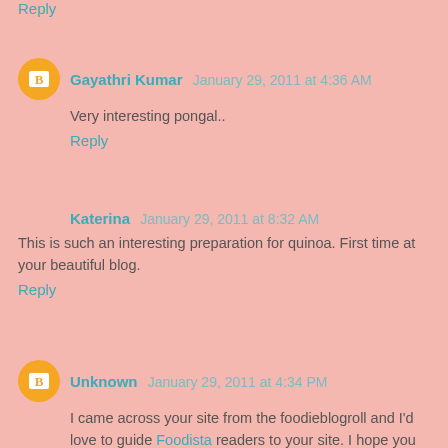Reply
Gayathri Kumar  January 29, 2011 at 4:36 AM
Very interesting pongal..
Reply
Katerina  January 29, 2011 at 8:32 AM
This is such an interesting preparation for quinoa. First time at your beautiful blog.
Reply
Unknown  January 29, 2011 at 4:34 PM
I came across your site from the foodieblogroll and I'd love to guide Foodista readers to your site. I hope you could add this quinoa widget at the end of this post so we could add you in our list of food bloggers who blogged about recipes featuring ingredients...